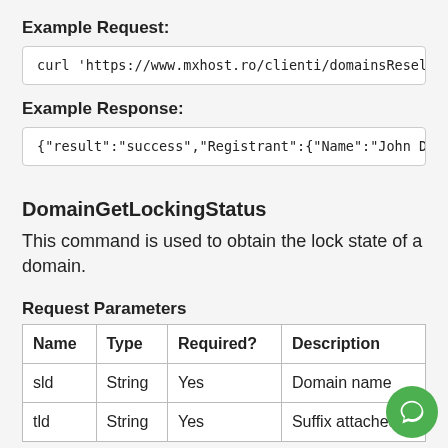Example Request:
curl 'https://www.mxhost.ro/clienti/domainsResell
Example Response:
{"result":"success","Registrant":{"Name":"John Do
DomainGetLockingStatus
This command is used to obtain the lock state of a domain.
Request Parameters
| Name | Type | Required? | Description |
| --- | --- | --- | --- |
| sld | String | Yes | Domain name |
| tld | String | Yes | Suffix attached |